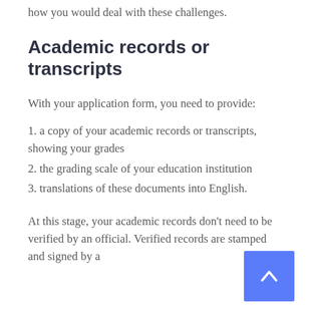how you would deal with these challenges.
Academic records or transcripts
With your application form, you need to provide:
1. a copy of your academic records or transcripts, showing your grades
2. the grading scale of your education institution
3. translations of these documents into English.
At this stage, your academic records don't need to be verified by an official. Verified records are stamped and signed by a